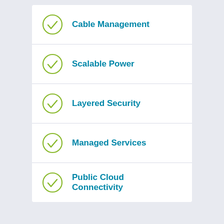Cable Management
Scalable Power
Layered Security
Managed Services
Public Cloud Connectivity